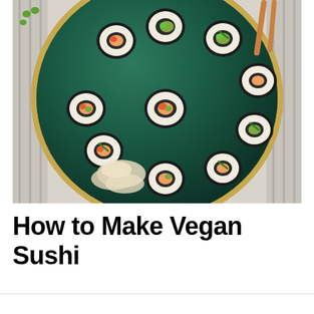[Figure (photo): Overhead view of vegan sushi rolls arranged on a round teal/dark green ceramic plate with a gold rim, placed on a striped linen cloth. The sushi rolls are maki-style with visible rice exteriors and colorful vegetable fillings including carrots and avocado. Pickled ginger is visible on the plate. Chopsticks are partially visible in the upper right corner.]
How to Make Vegan Sushi